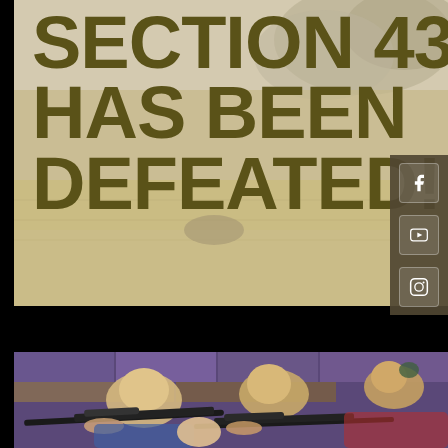[Figure (photo): Outdoor field/hunting scene background with tan/brown dried grasses and trees, used as backdrop for large bold headline text]
SECTION 436 HAS BEEN DEFEATED!
[Figure (photo): Indoor shooting range scene showing several young people (appearing to be girls/women) lying prone with rifles equipped with scopes, purple wall panels visible in background]